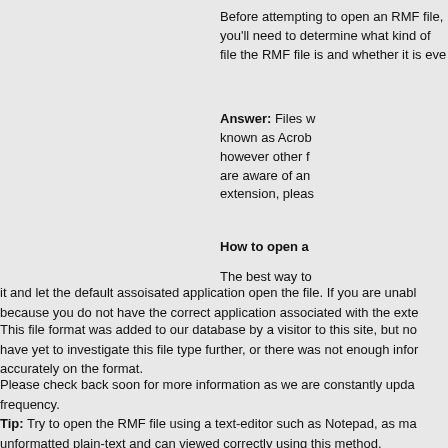Before attempting to open an RMF file, you'll need to determine what kind of file the RMF file is and whether it is even possible to open or view the file format.
Answer: Files with the .rmf extension are mainly known as Acrobat Rights Management files, however other file types may also use this extension. If you are aware of any additional file types that use the .rmf extension, please let us know.
How to open a .rmf file:
The best way to open an RMF file is to simply double-click it and let the default assoisated application open the file. If you are unable to open the file this way, it may be because you do not have the correct application associated with the extension to view or edit the RMF file.
This file format was added to our database by a visitor to this site, but no yet been verified by us. We have yet to investigate this file type further, or there was not enough information available for us to describe accurately on the format.
Please check back soon for more information as we are constantly updating our database with increased frequency.
Tip: Try to open the RMF file using a text-editor such as Notepad, as many file types contain unformatted plain-text and can viewed correctly using this method.